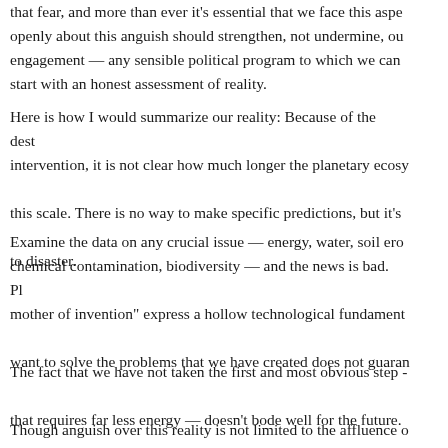that fear, and more than ever it's essential that we face this aspect openly about this anguish should strengthen, not undermine, our engagement — any sensible political program to which we can start with an honest assessment of reality.
Here is how I would summarize our reality: Because of the destruction of intervention, it is not clear how much longer the planetary ecosystem can sustain this scale. There is no way to make specific predictions, but it's headed to disaster.
Examine the data on any crucial issue — energy, water, soil erosion, chemical contamination, biodiversity — and the news is bad. Platitudes about "necessity is the mother of invention" express a hollow technological fundamentalism. That we want to solve the problems that we have created does not guarantee that we will.
The fact that we have not taken the first and most obvious step — shifting to an economy that requires far less energy — doesn't bode well for the future.
Though anguish over this reality is not limited to the affluence of...